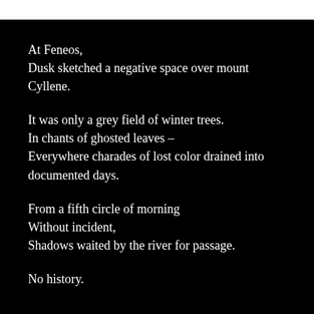At Feneos,
Dusk sketched a negative space over mount Cyllene.
It was only a grey field of winter trees.
In chants of ghosted leaves –
Everywhere charades of lost color drained into documented days.
From a fifth circle of morning
Without incident,
Shadows waited by the river for passage.
No history.